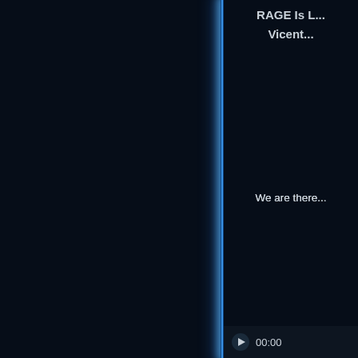[Figure (screenshot): Dark-themed video/media player UI screenshot. Left portion shows a dark navy background. A glowing vertical blue line divides the left and right panels. Right panel contains text on dark background: title 'RAGE Is L...' and 'Vicent...', body text 'We are there...', 'Your Host...', underlined bold 'Special Tha...'. Bottom right shows a video control bar with a play button and timestamp '00:00'.]
RAGE Is L...
Vicent...
We are there...
Your Host...
Special Tha...